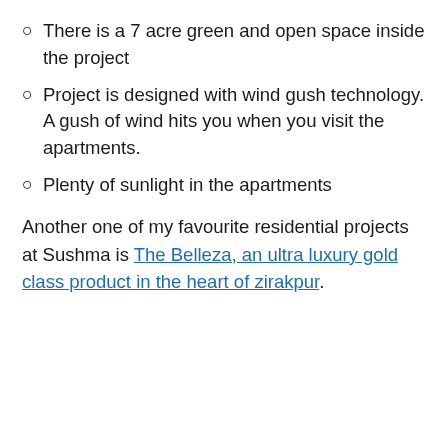There is a 7 acre green and open space inside the project
Project is designed with wind gush technology. A gush of wind hits you when you visit the apartments.
Plenty of sunlight in the apartments
Another one of my favourite residential projects at Sushma is The Belleza, an ultra luxury gold class product in the heart of zirakpur.